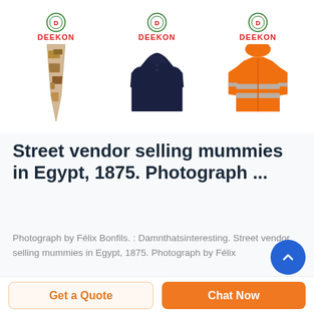[Figure (photo): Three product listings each with DEEKON logo above: a desert camo military tie, a dark navy polo shirt, and an orange high-visibility jacket with reflective stripes.]
Street vendor selling mummies in Egypt, 1875. Photograph ...
Photograph by Félix Bonfils. : Damnthatsinteresting. Street vendor selling mummies in Egypt, 1875. Photograph by Félix